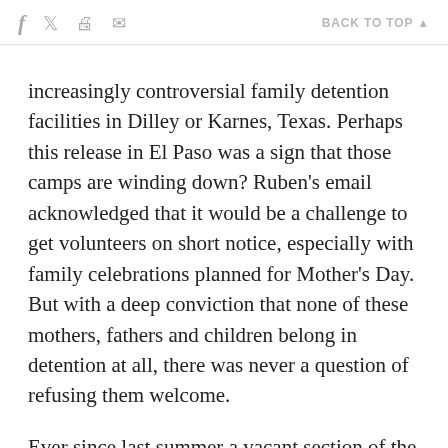f  [twitter]  [print]  [email]   BACK TO TOP ▲
increasingly controversial family detention facilities in Dilley or Karnes, Texas. Perhaps this release in El Paso was a sign that those camps are winding down? Ruben's email acknowledged that it would be a challenge to get volunteers on short notice, especially with family celebrations planned for Mother's Day. But with a deep conviction that none of these mothers, fathers and children belong in detention at all, there was never a question of refusing them welcome.
Ever since last summer a vacant section of the Sisters of Loretto Nazareth Hall nursing home has provided temporary shelter to a small but steady number of refugees, mostly from Central America and certain